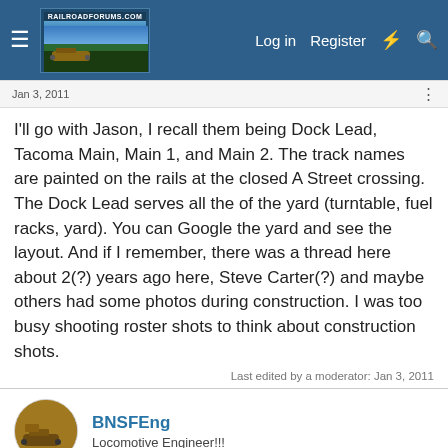RailroadForums.com — Log in | Register
I'll go with Jason, I recall them being Dock Lead, Tacoma Main, Main 1, and Main 2. The track names are painted on the rails at the closed A Street crossing. The Dock Lead serves all the of the yard (turntable, fuel racks, yard). You can Google the yard and see the layout. And if I remember, there was a thread here about 2(?) years ago here, Steve Carter(?) and maybe others had some photos during construction. I was too busy shooting roster shots to think about construction shots.
Last edited by a moderator: Jan 3, 2011
BNSFEng
Locomotive Engineer!!!
Jan 7, 2011
#5
RacerTodd said:  I'm editing my next railfanning video and have a quick question.